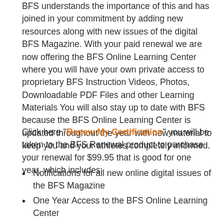BFS understands the importance of this and has joined in your commitment by adding new resources along with new issues of the digital BFS Magazine. With your paid renewal we are now offering the BFS Online Learning Center where you will have your own private access to proprietary BFS Instruction Videos, Photos, Downloadable PDF Files and other Learning Materials You will also stay up to date with BFS because the BFS Online Learning Center is updated throughout the year with new material to keep you and your athletes completely informed.
Click here "Renew My Certification" you will be taken to the BFS Renewal product to purchase your renewal for $99.95 that is good for one year, which includes:
Notifications for all new online digital issues of the BFS Magazine
One Year Access to the BFS Online Learning Center
Your Printed Certificate
Payment can be made by: